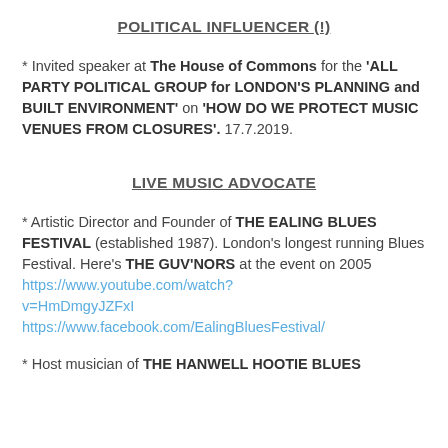POLITICAL INFLUENCER (!)
* Invited speaker at The House of Commons for the 'ALL PARTY POLITICAL GROUP for LONDON'S PLANNING and BUILT ENVIRONMENT' on 'HOW DO WE PROTECT MUSIC VENUES FROM CLOSURES'. 17.7.2019.
LIVE MUSIC ADVOCATE
* Artistic Director and Founder of THE EALING BLUES FESTIVAL (established 1987). London's longest running Blues Festival. Here's THE GUV'NORS at the event on 2005 https://www.youtube.com/watch?v=HmDmgyJZFxI https://www.facebook.com/EalingBluesFestival/
* Host musician of THE HANWELL HOOTIE BLUES